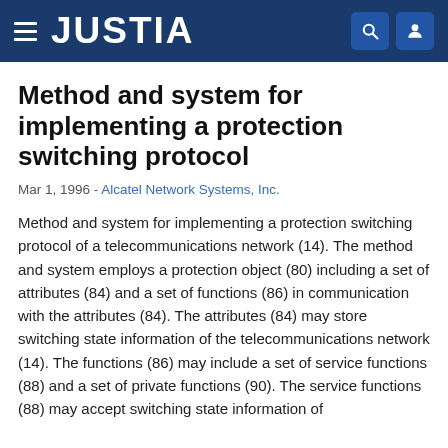JUSTIA
Method and system for implementing a protection switching protocol
Mar 1, 1996 - Alcatel Network Systems, Inc.
Method and system for implementing a protection switching protocol of a telecommunications network (14). The method and system employs a protection object (80) including a set of attributes (84) and a set of functions (86) in communication with the attributes (84). The attributes (84) may store switching state information of the telecommunications network (14). The functions (86) may include a set of service functions (88) and a set of private functions (90). The service functions (88) may accept switching state information of